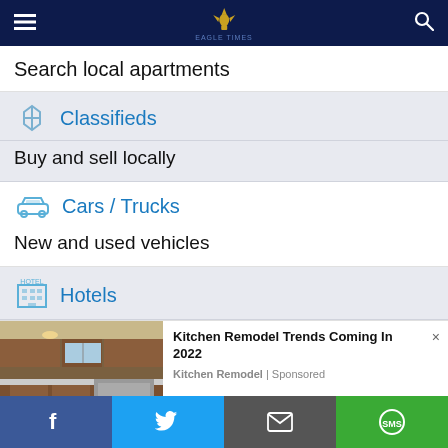Navigation bar with hamburger menu, logo, and search icon
Search local apartments
Classifieds
Buy and sell locally
Cars / Trucks
New and used vehicles
Hotels
[Figure (photo): Kitchen interior photo with wood cabinets and stainless steel appliances]
Kitchen Remodel Trends Coming In 2022
Kitchen Remodel | Sponsored
Facebook, Twitter, Email, SMS share buttons